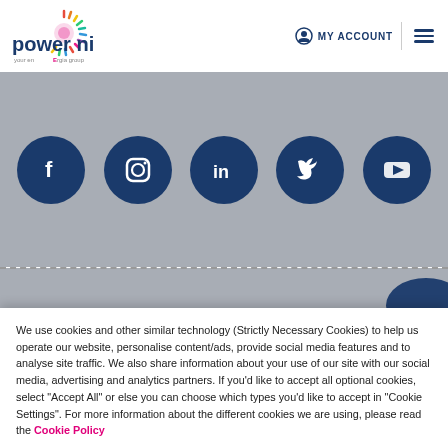[Figure (logo): Power NI logo with colourful sun-like icon and 'your energia group' tagline]
MY ACCOUNT
[Figure (infographic): Social media icons row: Facebook, Instagram, LinkedIn, Twitter/X, YouTube — white icons on dark navy circles, on grey background]
We use cookies and other similar technology (Strictly Necessary Cookies) to help us operate our website, personalise content/ads, provide social media features and to analyse site traffic. We also share information about your use of our site with our social media, advertising and analytics partners. If you'd like to accept all optional cookies, select "Accept All" or else you can choose which types you'd like to accept in "Cookie Settings". For more information about the different cookies we are using, please read the Cookie Policy